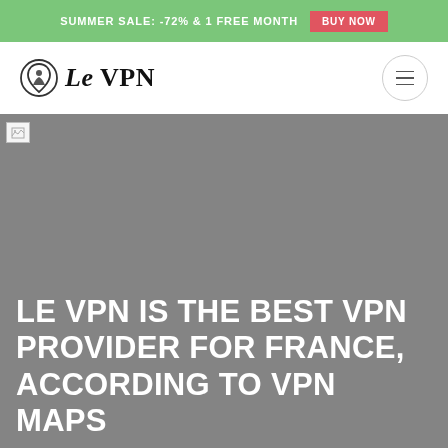SUMMER SALE: -72% & 1 FREE MONTH   BUY NOW
[Figure (logo): Le VPN logo — shield icon with stylized figure, followed by text 'Le VPN' in bold serif font]
[Figure (photo): Hero background image (failed to load, shown as gray placeholder) with broken image icon in top-left corner]
LE VPN IS THE BEST VPN PROVIDER FOR FRANCE, ACCORDING TO VPN MAPS